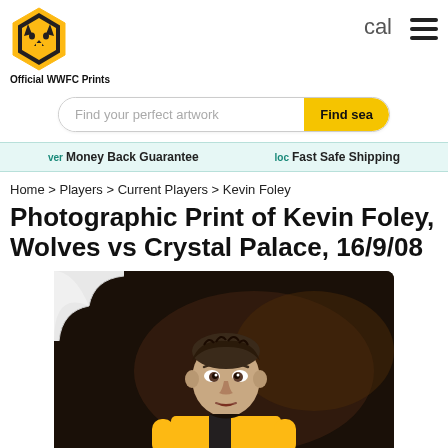[Figure (logo): Wolverhampton Wanderers FC crest logo - black hexagon shape with gold wolf face]
Official WWFC Prints
cal
[Figure (other): Hamburger menu icon with three horizontal lines]
[Figure (other): Search bar with placeholder text 'Find your perfect artwork' and yellow 'Find se' button]
ver Money Back Guarantee
loc Fast Safe Shipping
Home > Players > Current Players > Kevin Foley
Photographic Print of Kevin Foley, Wolves vs Crystal Palace, 16/9/08
[Figure (photo): Photograph of Kevin Foley, footballer wearing Wolverhampton Wanderers gold and black jersey, dark background]